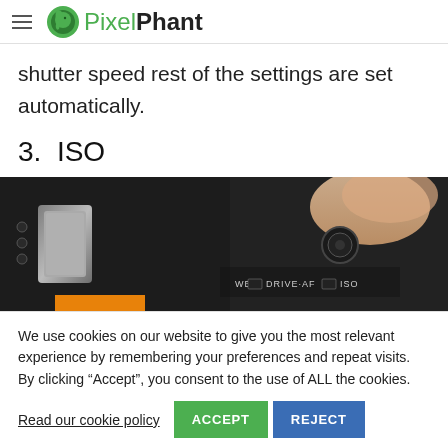PixelPhant
shutter speed rest of the settings are set automatically.
3.  ISO
[Figure (photo): Close-up photo of a camera body showing control buttons labeled WB, DRIVE-AF, and ISO, with a hand visible in the background.]
We use cookies on our website to give you the most relevant experience by remembering your preferences and repeat visits. By clicking “Accept”, you consent to the use of ALL the cookies.
Read our cookie policy  ACCEPT  REJECT